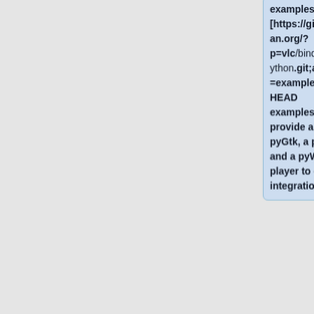examples [https://git.videolan.org/?p=vlc/bindings/python.git;a=tree;f=examples;hb=HEAD examples] provide a pyGtk, a pyQt and a pyWx player to ease integration.
There is also a [https://git.videolan.org/?p=vlc/bindings/python.git;a=blob_plain;f=README.rst README]